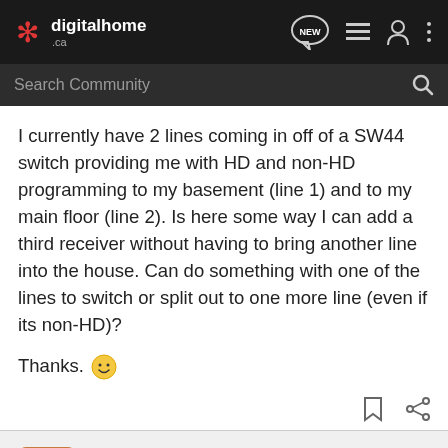digitalhome.ca
I currently have 2 lines coming in off of a SW44 switch providing me with HD and non-HD programming to my basement (line 1) and to my main floor (line 2). Is here some way I can add a third receiver without having to bring another line into the house. Can do something with one of the lines to switch or split out to one more line (even if its non-HD)?
Thanks. 🙂
Pinza · Registered
Joined Jul 31, 2008 · 10,007 Posts